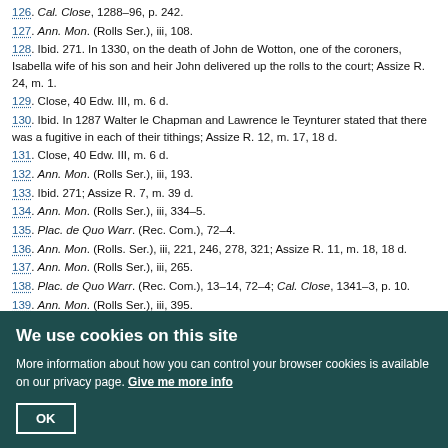126. Cal. Close, 1288–96, p. 242.
127. Ann. Mon. (Rolls Ser.), iii, 108.
128. Ibid. 271. In 1330, on the death of John de Wotton, one of the coroners, Isabella wife of his son and heir John delivered up the rolls to the court; Assize R. 24, m. 1.
129. Close, 40 Edw. III, m. 6 d.
130. Ibid. In 1287 Walter le Chapman and Lawrence le Teynturer stated that there was a fugitive in each of their tithings; Assize R. 12, m. 17, 18 d.
131. Close, 40 Edw. III, m. 6 d.
132. Ann. Mon. (Rolls Ser.), iii, 193.
133. Ibid. 271; Assize R. 7, m. 39 d.
134. Ann. Mon. (Rolls Ser.), iii, 334–5.
135. Plac. de Quo Warr. (Rec. Com.), 72–4.
136. Ann. Mon. (Rolls. Ser.), iii, 221, 246, 278, 321; Assize R. 11, m. 18, 18 d.
137. Ann. Mon. (Rolls Ser.), iii, 265.
138. Plac. de Quo Warr. (Rec. Com.), 13–14, 72–4; Cal. Close, 1341–3, p. 10.
139. Ann. Mon. (Rolls Ser.), iii, 395.
140. They had, however, special privileges, among which was the right to bequeath property on their death-beds; Assize R. 5, m. 21 d.
141. Ann. Mon. (Rolls Ser.), iii, 65; Harl. MS. 1885, fol. 50.
142. The case at issue was that of John Juvenis, on whose refusal to do service for
We use cookies on this site
More information about how you can control your browser cookies is available on our privacy page. Give me more info
OK